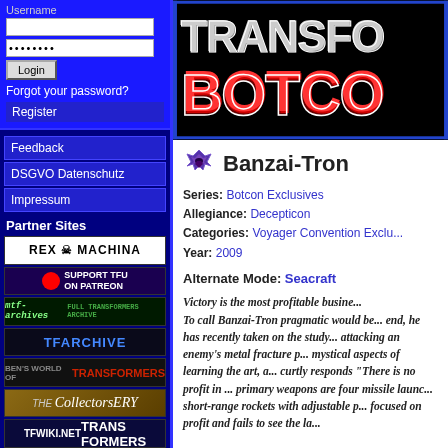[Figure (screenshot): Left sidebar with login form, navigation links, partner sites section with logo banners]
[Figure (logo): Transformers BotCon banner logo with red and silver 3D text on black background]
Banzai-Tron
Series: Botcon Exclusives
Allegiance: Decepticon
Categories: Voyager Convention Exclusives
Year: 2009
Alternate Mode: Seacraft
Victory is the most profitable business. To call Banzai-Tron pragmatic would be an understatement. To that end, he has recently taken on the study of Crystalocution, a method of attacking an enemy's metal fracture points. While he ignores the mystical aspects of learning the art, and curtly responds "There is no profit in mysticism," his primary weapons are four missile launchers and short-range rockets with adjustable payloads. So focused on profit and fails to see the la...